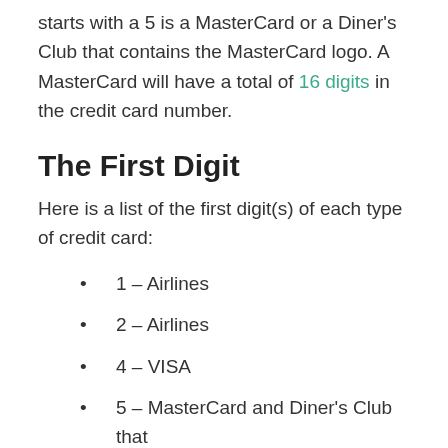starts with a 5 is a MasterCard or a Diner's Club that contains the MasterCard logo. A MasterCard will have a total of 16 digits in the credit card number.
The First Digit
Here is a list of the first digit(s) of each type of credit card:
1 – Airlines
2 – Airlines
4 – VISA
5 – MasterCard and Diner's Club that